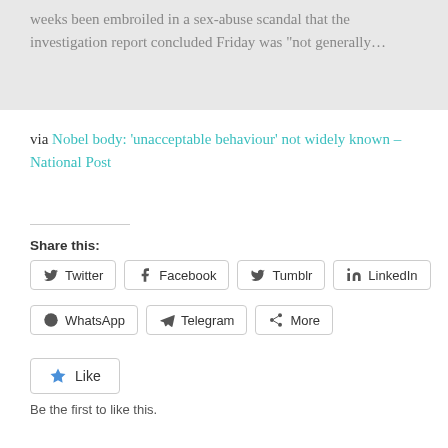weeks been embroiled in a sex-abuse scandal that the investigation report concluded Friday was “not generally…
via Nobel body: ‘unacceptable behaviour’ not widely known – National Post
Share this:
Twitter  Facebook  Tumblr  LinkedIn  WhatsApp  Telegram  More
Like
Be the first to like this.